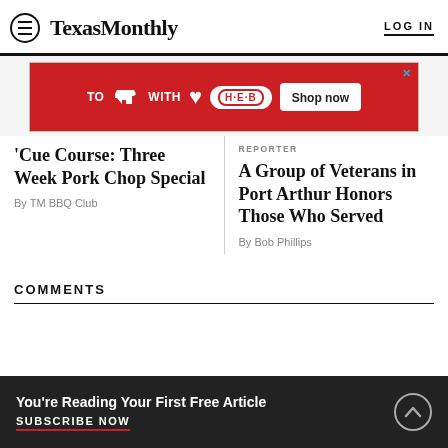TexasMonthly  LOG IN
[Figure (other): H-E-B advertisement banner: red background with Texas state outline icon, heart icon, H-E-B logo badge, and 'Shop now' button]
‘Cue Course: Three Week Pork Chop Special
By TM BBQ Club
REPORTER
A Group of Veterans in Port Arthur Honors Those Who Served
By Bob Phillips
COMMENTS
You’re Reading Your First Free Article
SUBSCRIBE NOW